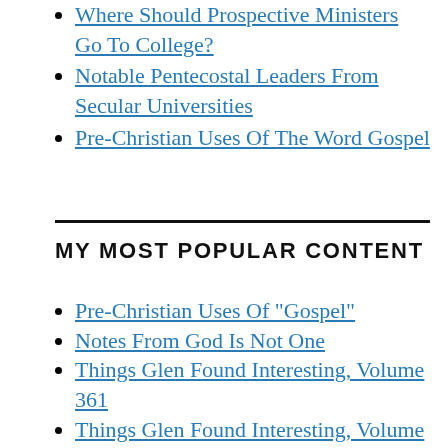Where Should Prospective Ministers Go To College?
Notable Pentecostal Leaders From Secular Universities
Pre-Christian Uses Of The Word Gospel
MY MOST POPULAR CONTENT
Pre-Christian Uses Of "Gospel"
Notes From God Is Not One
Things Glen Found Interesting, Volume 361
Things Glen Found Interesting, Volume 362
Things Glen Found Interesting, Volume 67
Things Glen Found Interesting, Volume 123
Things Glen Found Interesting, Volume 260